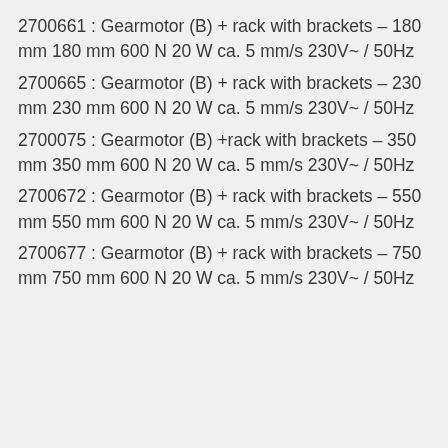2700661 : Gearmotor (B) + rack with brackets – 180 mm 180 mm 600 N 20 W ca. 5 mm/s 230V~ / 50Hz
2700665 : Gearmotor (B) + rack with brackets – 230 mm 230 mm 600 N 20 W ca. 5 mm/s 230V~ / 50Hz
2700075 : Gearmotor (B) +rack with brackets – 350 mm 350 mm 600 N 20 W ca. 5 mm/s 230V~ / 50Hz
2700672 : Gearmotor (B) + rack with brackets – 550 mm 550 mm 600 N 20 W ca. 5 mm/s 230V~ / 50Hz
2700677 : Gearmotor (B) + rack with brackets – 750 mm 750 mm 600 N 20 W ca. 5 mm/s 230V~ / 50Hz